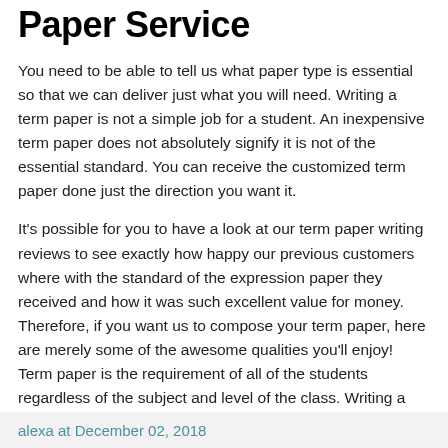Paper Service
You need to be able to tell us what paper type is essential so that we can deliver just what you will need. Writing a term paper is not a simple job for a student. An inexpensive term paper does not absolutely signify it is not of the essential standard. You can receive the customized term paper done just the direction you want it.
It's possible for you to have a look at our term paper writing reviews to see exactly how happy our previous customers where with the standard of the expression paper they received and how it was such excellent value for money. Therefore, if you want us to compose your term paper, here are merely some of the awesome qualities you'll enjoy! Term paper is the requirement of all of the students regardless of the subject and level of the class. Writing a great term paper demands multiple skills that aren't innately built in a number of the students.
alexa at December 02, 2018